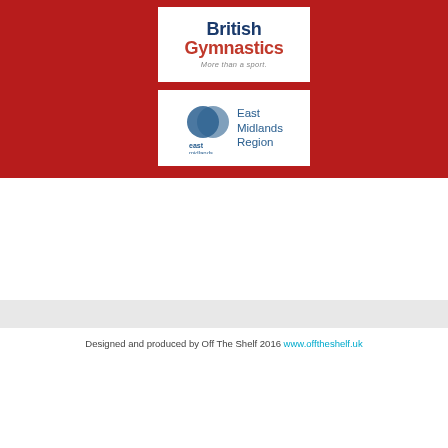[Figure (logo): British Gymnastics logo — 'British Gymnastics, More than a sport' with blue and red text on white background]
[Figure (logo): East Midlands Region logo — overlapping circles icon with 'east midlands' text and 'East Midlands Region' in blue on white background]
Designed and produced by Off The Shelf 2016 www.offtheshelf.uk